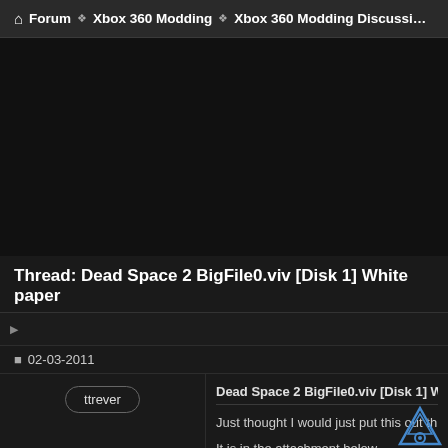Forum ❖ Xbox 360 Modding ❖ Xbox 360 Modding Discussion
[Figure (other): Dark banner/advertisement area]
Thread: Dead Space 2 BigFile0.viv [Disk 1] White paper
02-03-2011
ttrever
Dead Space 2 BigFile0.viv [Disk 1] W...
Just thought I would just put this out th...
It is in the attachment below.
Attached Files
Dead Space 2...